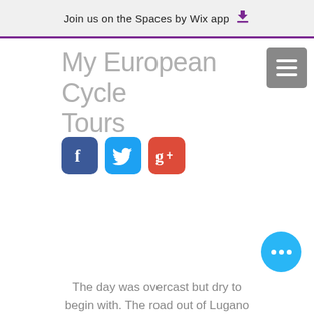Join us on the Spaces by Wix app
My European Cycle Tours
[Figure (screenshot): Social media icons: Facebook, Twitter, Google+]
[Figure (infographic): Floating action button (FAB) with three dots]
The day was overcast but dry to begin with. The road out of Lugano